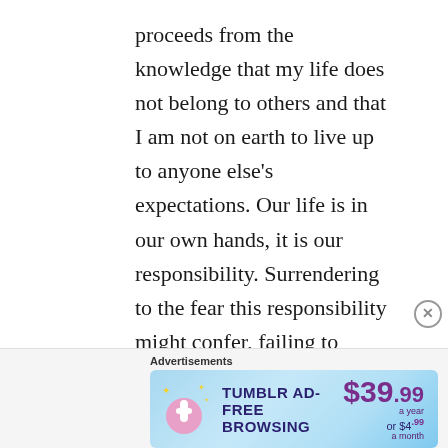proceeds from the knowledge that my life does not belong to others and that I am not on earth to live up to anyone else's expectations. Our life is in our own hands, it is our responsibility. Surrendering to the fear this responsibility might confer, failing to stand up for our right to exist as autonomous people, subverts self-esteem. We need the conviction that our ideas and wants are important, that we are not selfish if we stand up for ourselves and do what we would like. It takes courage to honour what we want and fight for it. Self-surrender and
Advertisements
[Figure (infographic): Tumblr Ad-Free Browsing advertisement banner. Shows Tumblr logo on left with text 'TUMBLR AD-FREE BROWSING' and pricing '$39.99 a year or $4.99 a month' on right side. Blue gradient background.]